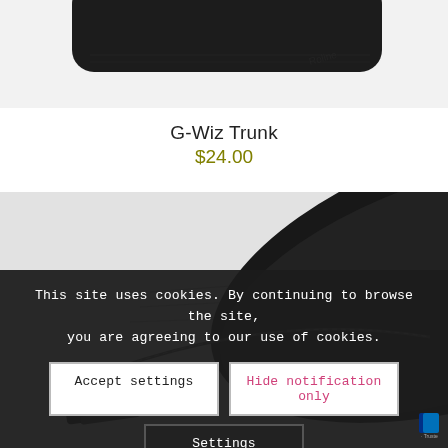[Figure (photo): Top portion of a dark black rubbery product (G-Wiz Trunk) shown against light gray background, cropped at top]
G-Wiz Trunk
$24.00
[Figure (photo): Black leather/fabric bag or trunk product photographed at an angle, showing zipper details, on light background. Cookie consent overlay partially covers the image.]
This site uses cookies. By continuing to browse the site, you are agreeing to our use of cookies.
Accept settings
Hide notification only
Settings